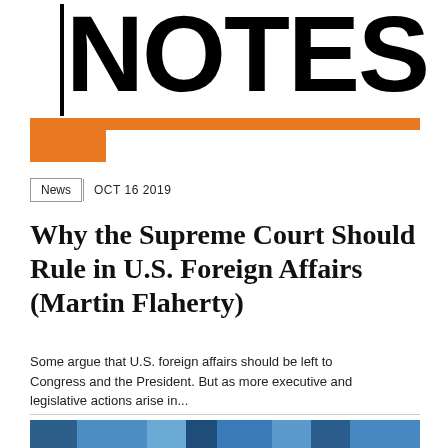NOTES
News  OCT 16 2019
Why the Supreme Court Should Rule in U.S. Foreign Affairs (Martin Flaherty)
Some argue that U.S. foreign affairs should be left to Congress and the President. But as more executive and legislative actions arise in...
[Figure (photo): Partial photo of two people shown from shoulders up against a blue striped background, cut off at bottom of page]